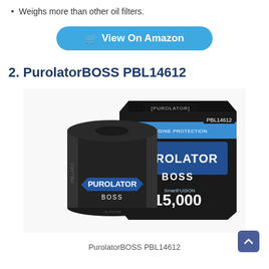Weighs more than other oil filters.
[Figure (other): Blue rounded button with cart icon: View On Amazon]
2. PurolatorBOSS PBL14612
[Figure (photo): Product photo of PurolatorBOSS PBL14612 oil filter (black canister) next to its dark packaging box labeled PUROLATOR BOSS, SmartFUSION 15,000, PBL14612, Maximum Engine Protection]
PurolatorBOSS PBL14612